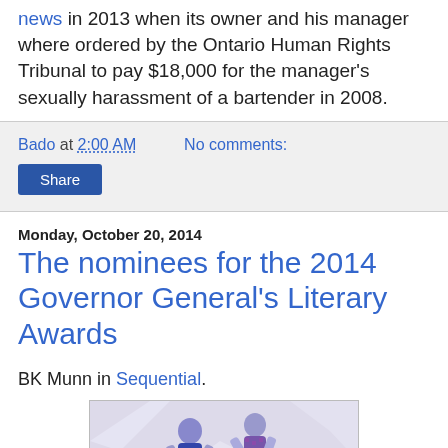news in 2013 when its owner and his manager where ordered by the Ontario Human Rights Tribunal to pay $18,000 for the manager's sexually harassment of a bartender in 2008.
Bado at 2:00 AM   No comments:
Share
Monday, October 20, 2014
The nominees for the 2014 Governor General's Literary Awards
BK Munn in Sequential.
[Figure (illustration): Illustration showing two figures running or jumping, rendered in blue/purple tones on a light lavender background]